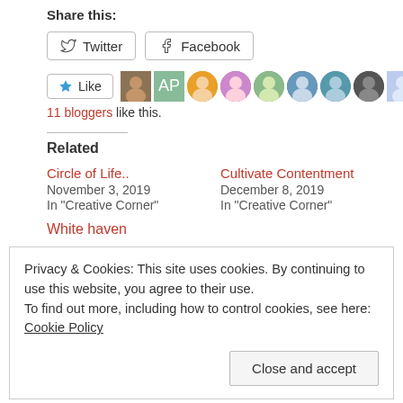Share this:
[Figure (screenshot): Twitter and Facebook share buttons]
[Figure (screenshot): Like button with 10 blogger avatar thumbnails]
11 bloggers like this.
Related
Circle of Life..
November 3, 2019
In "Creative Corner"
Cultivate Contentment
December 8, 2019
In "Creative Corner"
White haven
Privacy & Cookies: This site uses cookies. By continuing to use this website, you agree to their use.
To find out more, including how to control cookies, see here: Cookie Policy